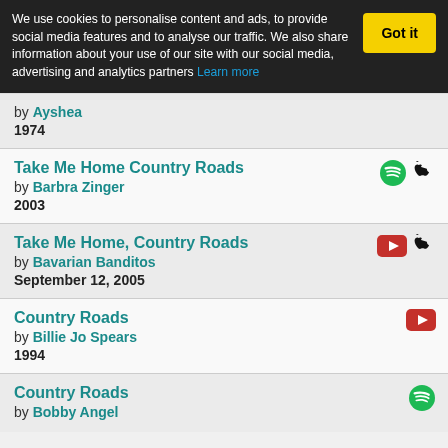We use cookies to personalise content and ads, to provide social media features and to analyse our traffic. We also share information about your use of our site with our social media, advertising and analytics partners Learn more
by Ayshea
1974
Take Me Home Country Roads
by Barbra Zinger
2003
Take Me Home, Country Roads
by Bavarian Banditos
September 12, 2005
Country Roads
by Billie Jo Spears
1994
Country Roads
by Bobby Angel